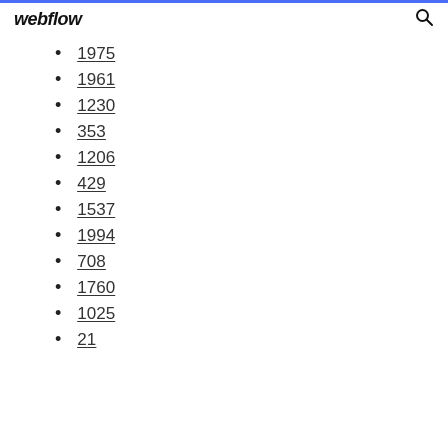webflow
1975
1961
1230
353
1206
429
1537
1994
708
1760
1025
21